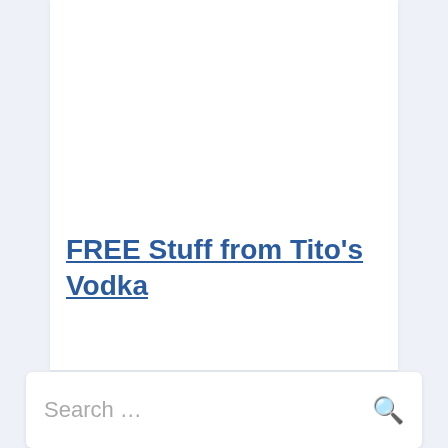FREE Stuff from Tito's Vodka
Search ...